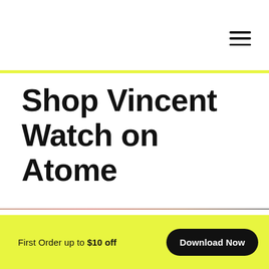[Figure (other): Hamburger menu icon (three horizontal lines) in the top right corner]
Shop Vincent Watch on Atome
First Order up to $10 off
Download Now